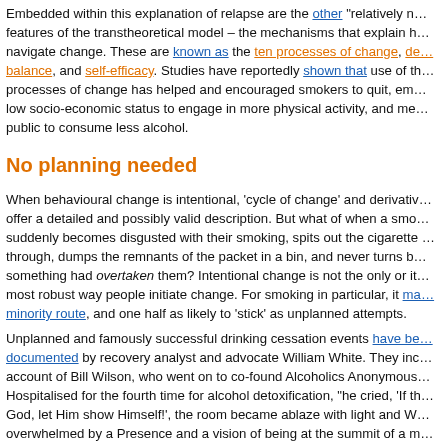Embedded within this explanation of relapse are the other "relatively new" features of the transtheoretical model – the mechanisms that explain how people navigate change. These are known as the ten processes of change, decisional balance, and self-efficacy. Studies have reportedly shown that use of the processes of change has helped and encouraged smokers to quit, empowered low socio-economic status to engage in more physical activity, and members of the public to consume less alcohol.
No planning needed
When behavioural change is intentional, 'cycle of change' and derivatives offer a detailed and possibly valid description. But what of when a smoker suddenly becomes disgusted with their smoking, spits out the cigarette half way through, dumps the remnants of the packet in a bin, and never turns back, as if something had overtaken them? Intentional change is not the only or indeed most robust way people initiate change. For smoking in particular, it may be a minority route, and one half as likely to 'stick' as unplanned attempts.
Unplanned and famously successful drinking cessation events have been documented by recovery analyst and advocate William White. They include the account of Bill Wilson, who went on to co-found Alcoholics Anonymous. Hospitalised for the fourth time for alcohol detoxification, "he cried, 'If there is a God, let Him show Himself!', the room became ablaze with light and Wilson was overwhelmed by a Presence and a vision of being at the summit of a mountain where a spirit wind blew through him, leaving the thought, 'You are a free man'. Wilson never took another drink."
Perhaps in less florid manifestations, that also seems a common kind of experience among dependent drinkers in treatment in Britain. When asked what they thought had helped them overcome their dependence on alcohol, those in the UK Alcohol Treatment Trial (UKATT) commonly described revelatory moments which precipitated wholesale transitions in how they saw drinking and themselves.